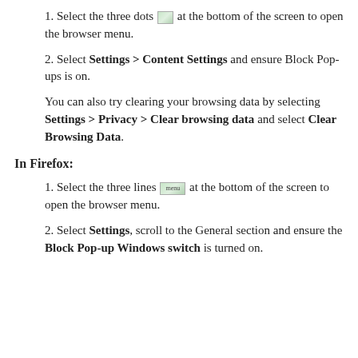1. Select the three dots [icon] at the bottom of the screen to open the browser menu.
2. Select Settings > Content Settings and ensure Block Pop-ups is on.
You can also try clearing your browsing data by selecting Settings > Privacy > Clear browsing data and select Clear Browsing Data.
In Firefox:
1. Select the three lines [menu icon] at the bottom of the screen to open the browser menu.
2. Select Settings, scroll to the General section and ensure the Block Pop-up Windows switch is turned on.